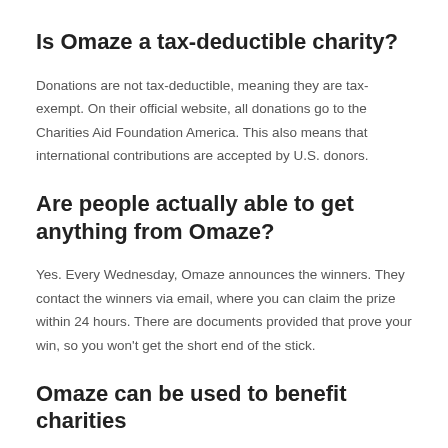Is Omaze a tax-deductible charity?
Donations are not tax-deductible, meaning they are tax-exempt. On their official website, all donations go to the Charities Aid Foundation America. This also means that international contributions are accepted by U.S. donors.
Are people actually able to get anything from Omaze?
Yes. Every Wednesday, Omaze announces the winners. They contact the winners via email, where you can claim the prize within 24 hours. There are documents provided that prove your win, so you won't get the short end of the stick.
Omaze can be used to benefit charities